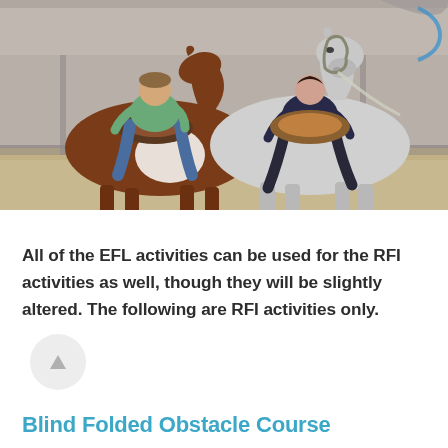[Figure (photo): Two riders on horses inside an indoor arena — one on a brown and white paint horse (rider in green shirt and jeans) and one on a grey/white horse (rider in dark top and dark pants). Sandy floor, metal barn structure visible in background.]
All of the EFL activities can be used for the RFI activities as well, though they will be slightly altered. The following are RFI activities only.
Blind Folded Obstacle Course